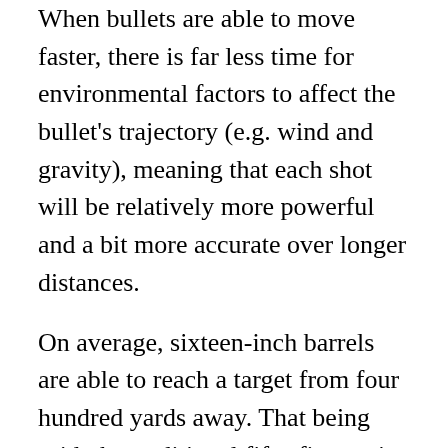When bullets are able to move faster, there is far less time for environmental factors to affect the bullet's trajectory (e.g. wind and gravity), meaning that each shot will be relatively more powerful and a bit more accurate over longer distances.
On average, sixteen-inch barrels are able to reach a target from four hundred yards away. That being said, the traditional fifty-five grain load grows more imprecise after three hundred yards, so fire carefully.
If you're looking to fire at a longer range, you would fare better with a heavier, longer load like a sixty-two grain, seventy-seven or eighty grain